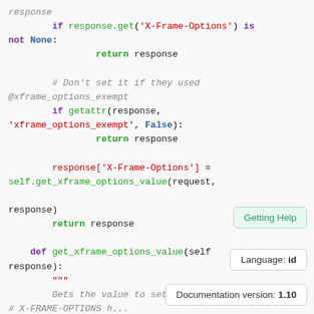Code snippet showing Python middleware for X-Frame-Options header handling, including response.get, getattr, return response, get_xframe_options_value method definition, and comments. With UI panels for Getting Help, Language: id, and Documentation version: 1.10.